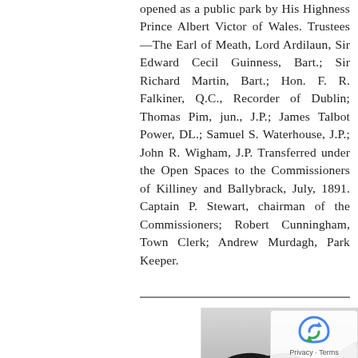opened as a public park by His Highness Prince Albert Victor of Wales. Trustees—The Earl of Meath, Lord Ardilaun, Sir Edward Cecil Guinness, Bart.; Sir Richard Martin, Bart.; Hon. F. R. Falkiner, Q.C., Recorder of Dublin; Thomas Pim, jun., J.P.; James Talbot Power, DL.; Samuel S. Waterhouse, J.P.; John R. Wigham, J.P. Transferred under the Open Spaces to the Commissioners of Killiney and Ballybrack, July, 1891. Captain P. Stewart, chairman of the Commissioners; Robert Cunningham, Town Clerk; Andrew Murdagh, Park Keeper.
[Figure (photo): Black and white photograph showing trees silhouetted against a light sky, with a park or outdoor landscape scene.]